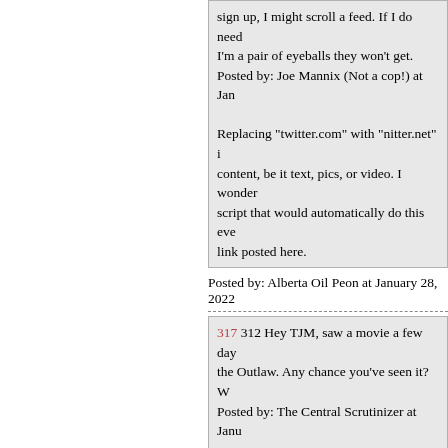sign up, I might scroll a feed. If I do need to sign up, I'm a pair of eyeballs they won't get.
Posted by: Joe Mannix (Not a cop!) at Jan
Replacing "twitter.com" with "nitter.net" i... content, be it text, pics, or video. I wonder... script that would automatically do this eve... link posted here.
Posted by: Alberta Oil Peon at January 28, 2022
317 312 Hey TJM, saw a movie a few day... the Outlaw. Any chance you've seen it? W...
Posted by: The Central Scrutinizer at Janu...
=========
Never heard of it.
Posted by: TheJamesMadison, Searching with Jo...
318 Whoa your grandfather was born in 1...
Posted by: Joe XiDen - I miss Delta Variant at Ja...